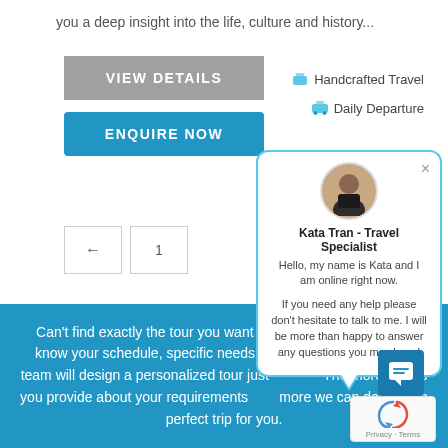you a deep insight into the life, culture and history...
[Figure (screenshot): VIEW DETAILS grey button]
[Figure (screenshot): ENQUIRE NOW blue button]
🧳 Handcrafted Travel
🚗 Daily Departure
[Figure (screenshot): Chat popup with Kata Tran - Travel Specialist. Hello, my name is Kata and I am online right now. If you need any help please don't hesitate to talk to me. I will be more than happy to answer any questions you may have!]
Can't find exactly the tour you want – don't worry – just let us know your schedule, specific needs and inter… ir expert team will design a personalized tour just… The more details you provide about your requirements… more we can design the perfect trip for you.